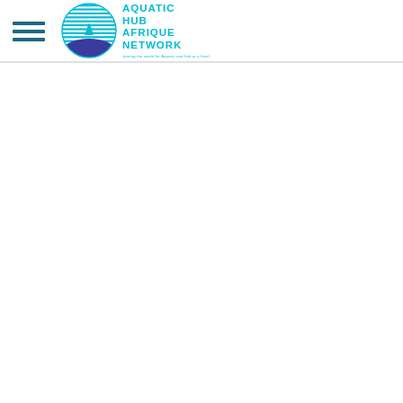Aquatic Hub Afrique Network
[Figure (logo): Aquatic Hub Afrique Network logo with circular emblem showing a shark fin over water with horizontal lines, alongside text reading AQUATIC HUB AFRIQUE NETWORK with tagline]